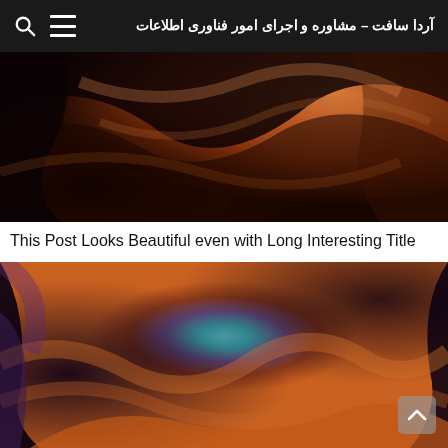آردا سافت – مشاوره و اجرای امور فناوری اطلاعات
[Figure (photo): Close-up photograph of Antelope Canyon sandstone rock formations with warm orange and red swirling patterns]
This Post Looks Beautiful even with Long Interesting Title
[Figure (photo): Photograph of Antelope Canyon rock formations with purple and orange swirling sandstone and a small patch of blue sky visible through an opening]